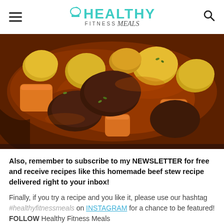HEALTHY FITNESS meals
[Figure (photo): Close-up of a beef stew in a dark pan with chunks of carrots, potatoes, onions, and tender beef in a rich red-brown sauce, garnished with fresh herbs.]
Also, remember to subscribe to my NEWSLETTER for free and receive recipes like this homemade beef stew recipe delivered right to your inbox!
Finally, if you try a recipe and you like it, please use our hashtag #healthyfitnessmeals on INSTAGRAM for a chance to be featured! FOLLOW Healthy Fitness Meals